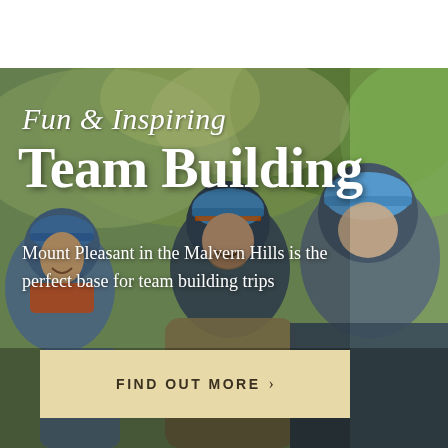[Figure (photo): Group of people wearing blue helmets engaged in outdoor team building activity, smiling and working together with green trees in background]
Fun & Inspiring Team Building
Mount Pleasant in the Malvern Hills is the perfect base for team building trips
FIND OUT MORE ›